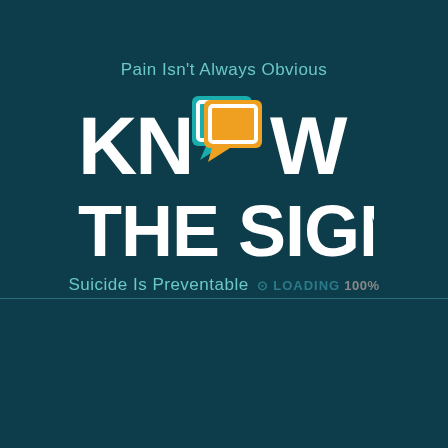[Figure (logo): Know The Signs suicide prevention logo with speech bubble icons in teal and orange, tagline 'Pain Isn't Always Obvious' above and 'Suicide Is Preventable' below, on dark teal background. Loading indicator showing 'LOADING 100%' overlaid on bottom tagline.]